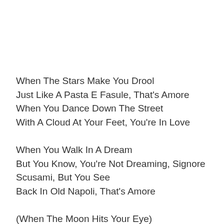When The Stars Make You Drool
Just Like A Pasta E Fasule, That's Amore
When You Dance Down The Street
With A Cloud At Your Feet, You're In Love
When You Walk In A Dream
But You Know, You're Not Dreaming, Signore
Scusami, But You See
Back In Old Napoli, That's Amore
(When The Moon Hits Your Eye)
(Like A Big Pizza Pie, That's Amore) That's Amore